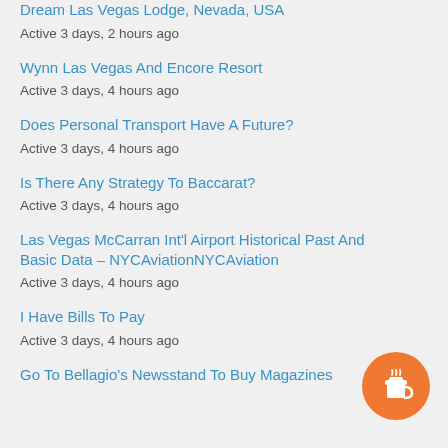Dream Las Vegas Lodge, Nevada, USA
Active 3 days, 2 hours ago
Wynn Las Vegas And Encore Resort
Active 3 days, 4 hours ago
Does Personal Transport Have A Future?
Active 3 days, 4 hours ago
Is There Any Strategy To Baccarat?
Active 3 days, 4 hours ago
Las Vegas McCarran Int'l Airport Historical Past And Basic Data – NYCAviationNYCAviation
Active 3 days, 4 hours ago
I Have Bills To Pay
Active 3 days, 4 hours ago
Go To Bellagio's Newsstand To Buy Magazines